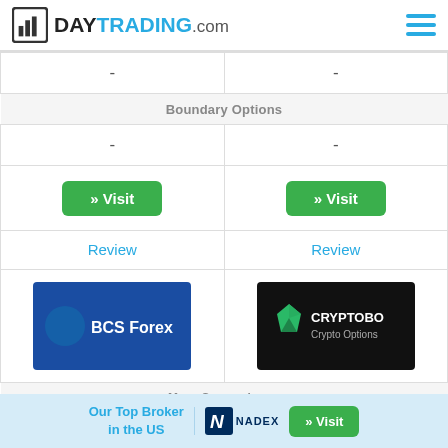[Figure (logo): DayTrading.com logo with bar chart icon]
| BCS Forex | Cryptobo |
| --- | --- |
| - | - |
| Boundary Options |  |
| - | - |
| » Visit | » Visit |
| Review | Review |
| BCS Forex logo | Cryptobo logo |
More Comparisons
BCS Forex vs Select Broker..   Cryptobo vs Select Broker..
Our Top Broker in the US  NADEX  » Visit